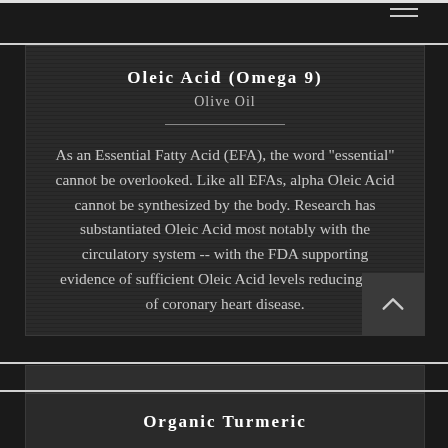Oleic Acid (Omega 9)
Olive Oil
As an Essential Fatty Acid (EFA), the word "essential" cannot be overlooked. Like all EFAs, alpha Oleic Acid cannot be synthesized by the body. Research has substantiated Oleic Acid most notably with the circulatory system -- with the FDA supporting evidence of sufficient Oleic Acid levels reducing risk of coronary heart disease.
Organic Turmeric